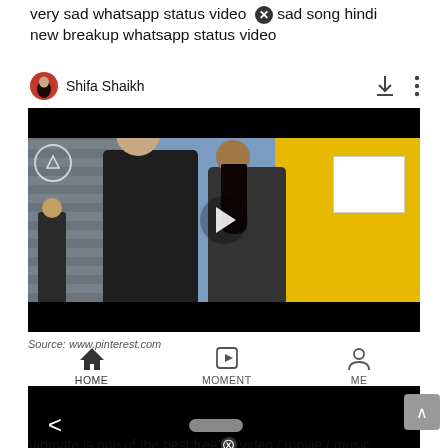very sad whatsapp status video  sad song hindi new breakup whatsapp status video
Shifa Shaikh
[Figure (screenshot): Video thumbnail showing two people (man and woman) in an outdoor street scene with yellow storefront in background. A play button is visible in the center. App navigation bar below shows HOME, MOMENT, ME icons. Black bar at bottom with back arrow and pill indicator.]
Source: www.pinterest.com
Vidmate is one of the best free ⓧ video / movie / music